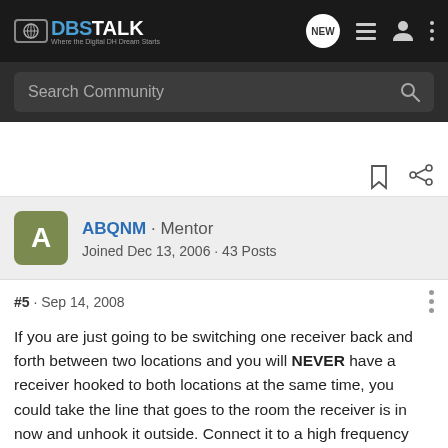DBSTALK - Where the Digital DH Dream Starts - Search Community
ABQNM · Mentor
Joined Dec 13, 2006 · 43 Posts
#5 · Sep 14, 2008
If you are just going to be switching one receiver back and forth between two locations and you will NEVER have a receiver hooked to both locations at the same time, you could take the line that goes to the room the receiver is in now and unhook it outside. Connect it to a high frequency splitter (all ports power passing) http://www.prosatellitesupply.com/hi-